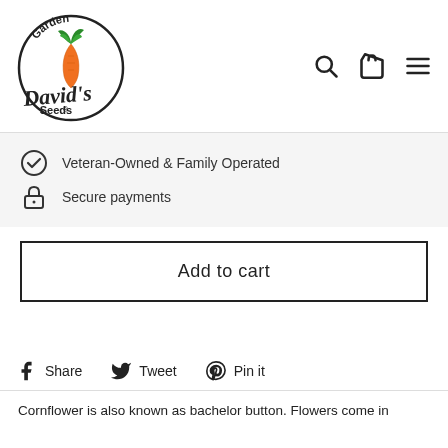[Figure (logo): David's Garden Seeds logo — circular emblem with carrot illustration, text 'Garden' at top, 'Davids' in script, 'Seeds®' at bottom, orange carrot graphic in center with green leaves]
[Figure (infographic): Navigation icons: magnifying glass (search), shopping bag (cart), hamburger menu (three lines)]
Veteran-Owned & Family Operated
Secure payments
Add to cart
Share
Tweet
Pin it
Cornflower is also known as bachelor button. Flowers come in